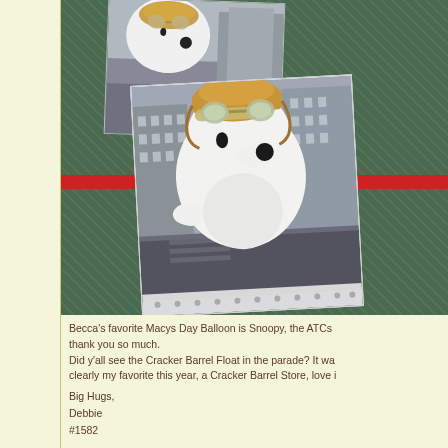[Figure (photo): Photo of two Snoopy Macy's parade balloon postcards/prints lying on a green fabric background with a red stripe. The front postcard shows the large Snoopy balloon wearing a pilot's hat and goggles floating over a crowded New York City street during the Macy's Thanksgiving Day Parade. A smaller postcard in the background also shows the Snoopy balloon from a different angle.]
Becca's favorite Macys Day Balloon is Snoopy, the ATCs thank you so much. Did y'all see the Cracker Barrel Float in the parade? It wa clearly my favorite this year, a Cracker Barrel Store, love i
Big Hugs,
Debbie
#1582